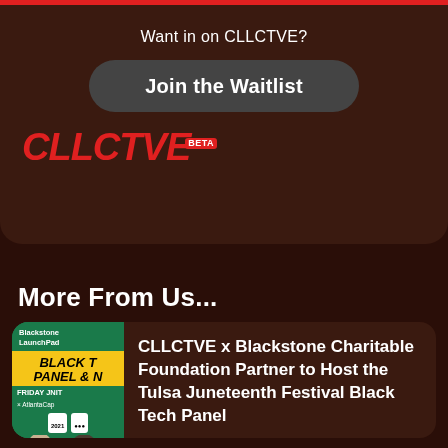Want in on CLLCTVE?
Join the Waitlist
[Figure (logo): CLLCTVE BETA logo in red italic bold font with BETA badge]
More From Us...
[Figure (photo): Event flyer for Black Tech Panel & event on Friday by AtlantaCapital with people silhouettes]
CLLCTVE x Blackstone Charitable Foundation Partner to Host the Tulsa Juneteenth Festival Black Tech Panel